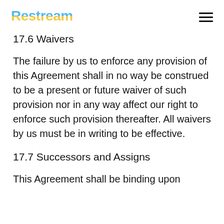Restream
17.6 Waivers
The failure by us to enforce any provision of this Agreement shall in no way be construed to be a present or future waiver of such provision nor in any way affect our right to enforce such provision thereafter. All waivers by us must be in writing to be effective.
17.7 Successors and Assigns
This Agreement shall be binding upon